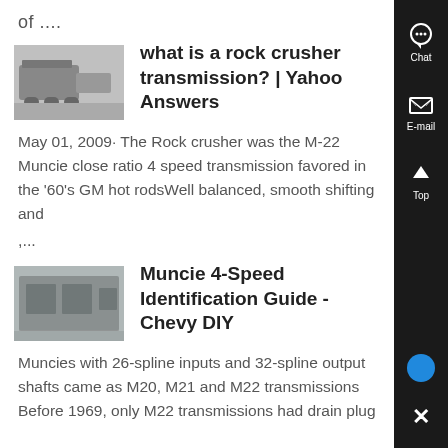of ....
what is a rock crusher transmission? | Yahoo Answers
May 01, 2009· The Rock crusher was the M-22 Muncie close ratio 4 speed transmission favored in the '60's GM hot rods Well balanced, smooth shifting and ,...
Muncie 4-Speed Identification Guide - Chevy DIY
Muncies with 26-spline inputs and 32-spline output shafts came as M20, M21 and M22 transmissions Before 1969, only M22 transmissions had drain plug